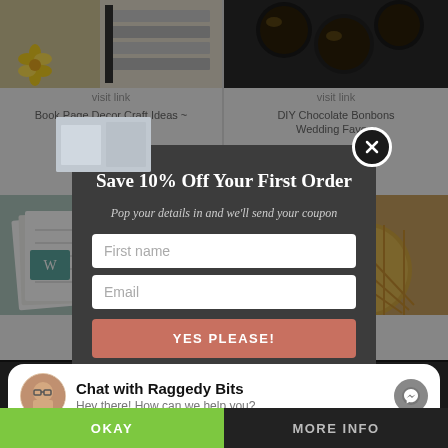[Figure (screenshot): Website screenshot showing a blog grid with craft/recipe cards partially visible. A modal popup overlay is showing 'Save 10% Off Your First Order' with form fields for First name and Email, and a 'YES PLEASE!' button. A Facebook Messenger chat widget at the bottom says 'Chat with Raggedy Bits - Hey there! How can we help you?' with OKAY and MORE INFO buttons at the bottom.]
Book Page Decor Craft Ideas ~
DIY Chocolate Bonbons Wedding Favors
visit link
visit link
visit link
visit link
Save 10% Off Your First Order
Pop your details in and we'll send your coupon
First name
Email
YES PLEASE!
Chat with Raggedy Bits
Hey there! How can we help you?
OKAY
MORE INFO